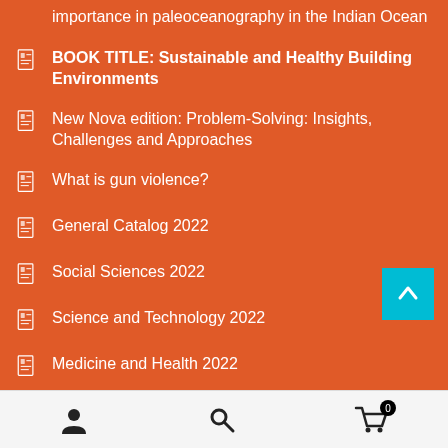importance in paleoceanography in the Indian Ocean
BOOK TITLE: Sustainable and Healthy Building Environments
New Nova edition: Problem-Solving: Insights, Challenges and Approaches
What is gun violence?
General Catalog 2022
Social Sciences 2022
Science and Technology 2022
Medicine and Health 2022
BEYOND SPECIAL RELATIVITY – Looking for the